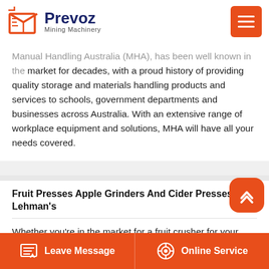Prevoz Mining Machinery
Manual Handling Australia (MHA), has been well known in the market for decades, with a proud history of providing quality storage and materials handling products and services to schools, government departments and businesses across Australia. With an extensive range of workplace equipment and solutions, MHA will have all your needs covered.
Fruit Presses Apple Grinders And Cider Presses Lehman's
Whether you're in the market for a fruit crusher for your small orchard or just want to keep the nectar flowing at home, there's a fruit press for sale at Lehman's to help you achieve it! Efficient cider-making is our specialty, and our non-electric apple grinders and cider presses will.
Leave Message   Online Service